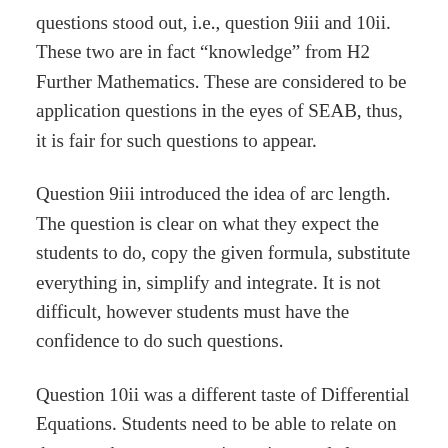questions stood out, i.e., question 9iii and 10ii. These two are in fact “knowledge” from H2 Further Mathematics. These are considered to be application questions in the eyes of SEAB, thus, it is fair for such questions to appear.
Question 9iii introduced the idea of arc length. The question is clear on what they expect the students to do, copy the given formula, substitute everything in, simplify and integrate. It is not difficult, however students must have the confidence to do such questions.
Question 10ii was a different taste of Differential Equations. Students need to be able to relate on the spot, the many equations given and also focus properly in the face of the many unknown constants.